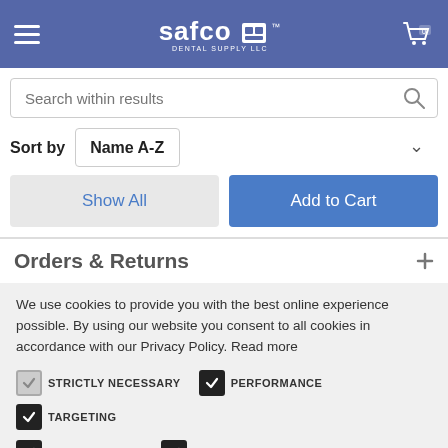[Figure (screenshot): Safco Dental Supply LLC website header with hamburger menu, logo, and cart icon (0 items)]
Search within results
Sort by   Name A-Z
Show All
Add to Cart
Orders & Returns
We use cookies to provide you with the best online experience possible. By using our website you consent to all cookies in accordance with our Privacy Policy. Read more
STRICTLY NECESSARY   PERFORMANCE   TARGETING   FUNCTIONALITY   UNCLASSIFIED
SHOW DETAILS
ACCEPT ALL
DECLINE ALL